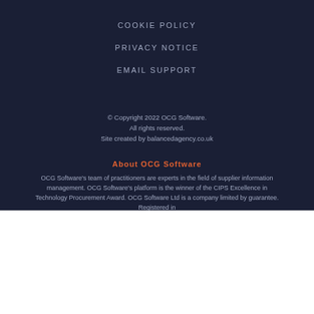COOKIE POLICY
PRIVACY NOTICE
EMAIL SUPPORT
© Copyright 2022 OCG Software.
All rights reserved.
Site created by balancedagency.co.uk
About OCG Software
OCG Software's team of practitioners are experts in the field of supplier information management. OCG Software's platform is the winner of the CIPS Excellence in Technology Procurement Award. OCG Software Ltd is a company limited by guarantee. Registered in
We use cookies on our website to give you the best online experience. Please let us know if you accept the use of cookies on this site. Privacy Policy
Settings
Accept